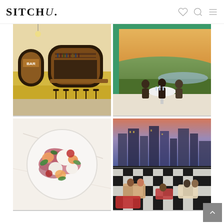SITCHU.
[Figure (photo): Interior of a bar restaurant with arched doorways, wooden bar counter, yellow tiled walls, and bar stools]
[Figure (photo): People dining at a table outdoors overlooking a scenic wetland/river landscape at golden hour]
[Figure (photo): Overhead view of a plate with prosciutto, burrata, stone fruit, tomatoes and greens]
[Figure (photo): Aerial rooftop bar with checkered floor, city skyline view at dusk, people socializing]